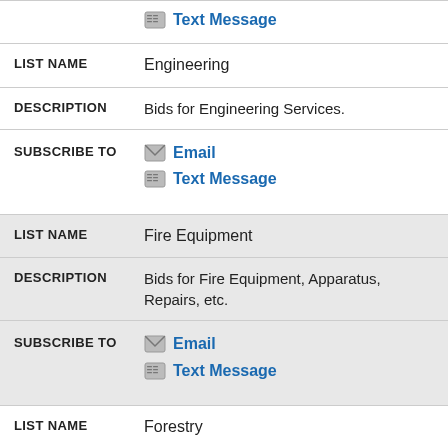| Field | Value |
| --- | --- |
| SUBSCRIBE TO | Text Message (partial top) |
| LIST NAME | Engineering |
| DESCRIPTION | Bids for Engineering Services. |
| SUBSCRIBE TO | Email / Text Message |
| LIST NAME | Fire Equipment |
| DESCRIPTION | Bids for Fire Equipment, Apparatus, Repairs, etc. |
| SUBSCRIBE TO | Email / Text Message |
| LIST NAME | Forestry |